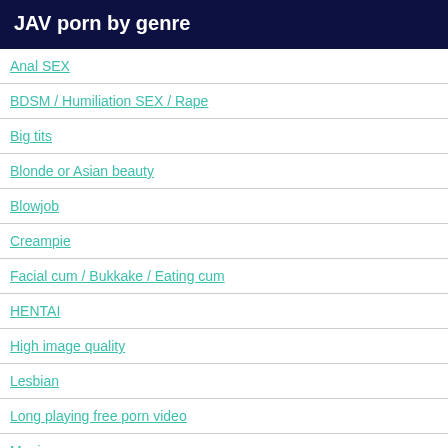JAV porn by genre
Anal SEX
BDSM / Humiliation SEX / Rape
Big tits
Blonde or Asian beauty
Blowjob
Creampie
Facial cum / Bukkake / Eating cum
HENTAI
High image quality
Lesbian
Long playing free porn video
Maniac
Masturbation
MILFs